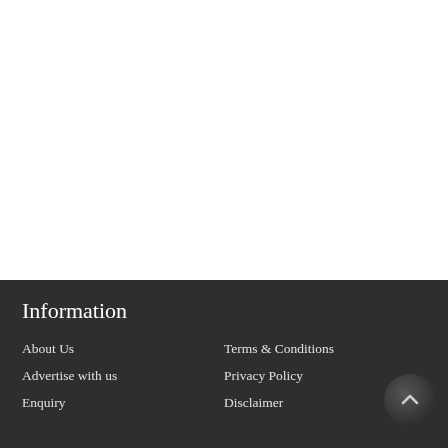Information
About Us
Advertise with us
Enquiry
Terms & Conditions
Privacy Policy
Disclaimer